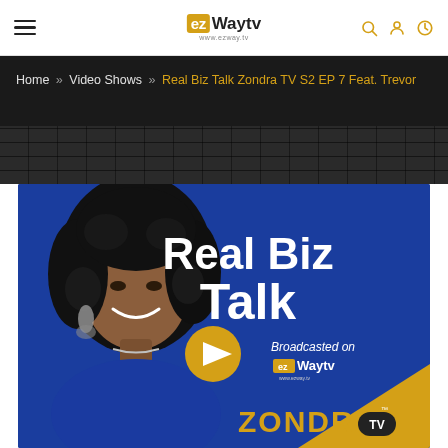ezWaytv navigation header with hamburger menu, logo, search, user, and clock icons
Home » Video Shows » Real Biz Talk Zondra TV S2 EP 7 Feat. Trevor
[Figure (photo): Real Biz Talk show thumbnail on ezWaytv featuring a smiling woman with curly hair on a blue background. Text reads 'Real Biz Talk' in large white letters, 'Broadcasted on ezWaytv' and 'ZONDRA TV' logo at bottom. A gold play button circle is visible in the center.]